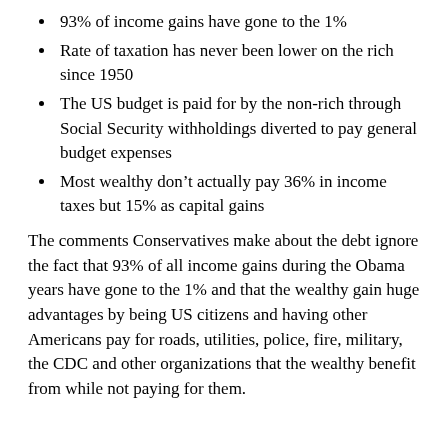93% of income gains have gone to the 1%
Rate of taxation has never been lower on the rich since 1950
The US budget is paid for by the non-rich through Social Security withholdings diverted to pay general budget expenses
Most wealthy don’t actually pay 36% in income taxes but 15% as capital gains
The comments Conservatives make about the debt ignore the fact that 93% of all income gains during the Obama years have gone to the 1% and that the wealthy gain huge advantages by being US citizens and having other Americans pay for roads, utilities, police, fire, military, the CDC and other organizations that the wealthy benefit from while not paying for them.